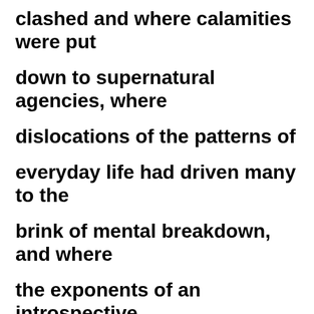clashed and where calamities were put down to supernatural agencies, where dislocations of the patterns of everyday life had driven many to the brink of mental breakdown, and where the exponents of an introspective religion held sway. Hopkins became famous after he supposedly